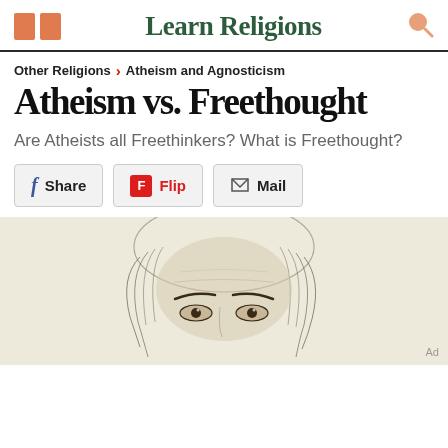Learn Religions
Other Religions > Atheism and Agnosticism
Atheism vs. Freethought
Are Atheists all Freethinkers? What is Freethought?
Share  Flip  Mail
[Figure (illustration): Pencil sketch illustration of a historical figure (upper portion: forehead, hair, and eyes visible), possibly John Locke or similar philosopher, rendered in black and white engraving style on cream background.]